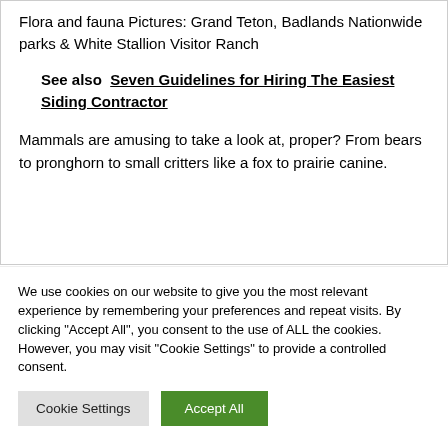Flora and fauna Pictures: Grand Teton, Badlands Nationwide parks & White Stallion Visitor Ranch
See also  Seven Guidelines for Hiring The Easiest Siding Contractor
Mammals are amusing to take a look at, proper? From bears to pronghorn to small critters like a fox to prairie canine.
We use cookies on our website to give you the most relevant experience by remembering your preferences and repeat visits. By clicking "Accept All", you consent to the use of ALL the cookies. However, you may visit "Cookie Settings" to provide a controlled consent.